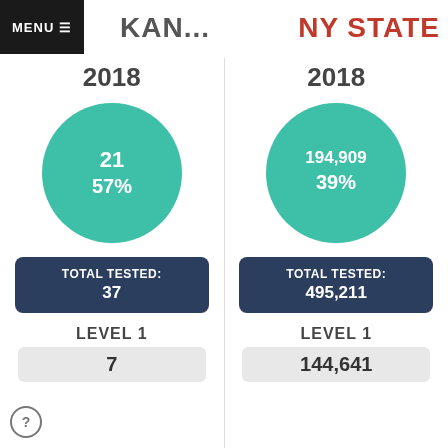MENU
KAN...
NY STATE
2018
[Figure (donut-chart): KAN... 2018]
TOTAL TESTED: 37
LEVEL 1
7
2018
[Figure (donut-chart): NY STATE 2018]
TOTAL TESTED: 495,211
LEVEL 1
144,641